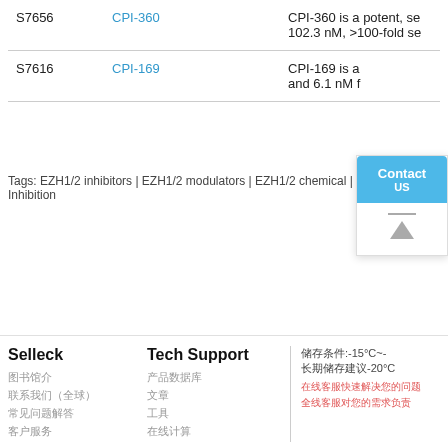| ID | Name | Description |
| --- | --- | --- |
| S7656 | CPI-360 | CPI-360 is a potent, se... 102.3 nM, >100-fold se... |
| S7616 | CPI-169 | CPI-169 is a... and 6.1 nM f... |
Tags: EZH1/2 inhibitors | EZH1/2 modulators | EZH1/2 chemical | EZH1/2 Inhibition
Selleck
Tech Support
储存温度:-15°C~-... 长期储存建议-20°C
[Chinese link text rows]